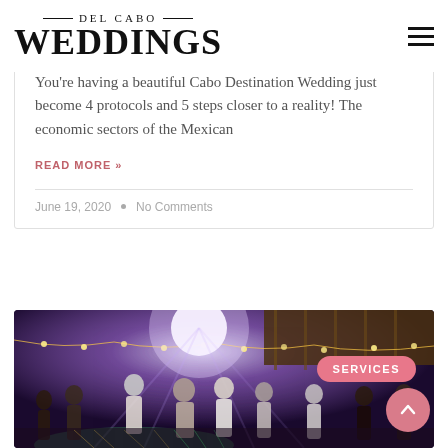DEL CABO WEDDINGS
You're having a beautiful Cabo Destination Wedding just become 4 protocols and 5 steps closer to a reality! The economic sectors of the Mexican
READ MORE »
June 19, 2020 • No Comments
[Figure (photo): Night outdoor wedding reception with dancing guests under string lights and a palapa, with laser/spotlight lighting in purple and green tones]
SERVICES